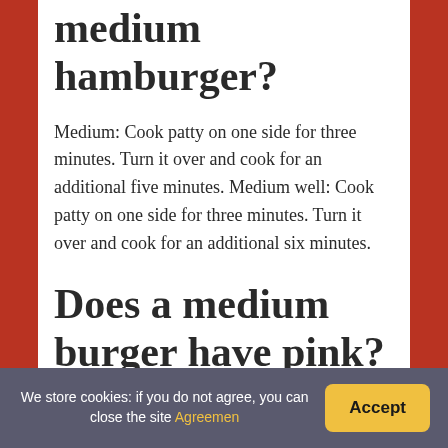medium hamburger?
Medium: Cook patty on one side for three minutes. Turn it over and cook for an additional five minutes. Medium well: Cook patty on one side for three minutes. Turn it over and cook for an additional six minutes.
Does a medium burger have pink?
Meaning. According to O Chef, a medium well burger has a slightly pink center and reaches an internal temperature of 150 to 155 degrees Fahrenheit. The inside of the burger is warm to
We store cookies: if you do not agree, you can close the site Agreement